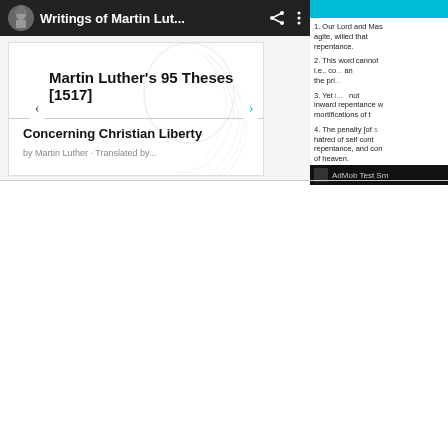Writings of Martin Lut...
Martin Luther's 95 Theses [1517]
Concerning Christian Liberty
1. Our Lord and Master Jesus Christ, when He said Poenitentiam agite, willed that the whole life of believers should be repentance.
2. This word cannot be understood to mean sacramental penance, i.e., co... an... the pri...
3. Yet it... not inward repentance wh... mortifications of th...
4. The penalty [of s... hatred of self cont... repentance, and con... of heaven.
AdMob Test Sm...